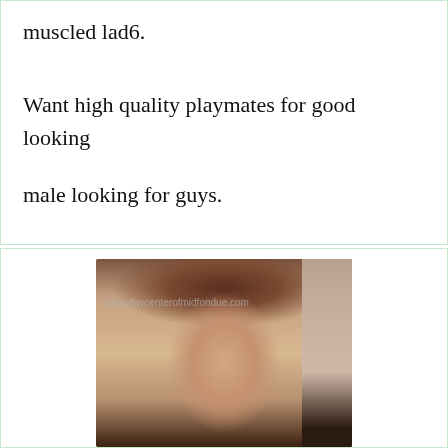muscled lad6.
Want high quality playmates for good looking male looking for guys.
[Figure (photo): Photo of a smiling young woman with dark hair and earrings, wearing a dark top, with another person partially visible on the right. A watermark text is visible across the top of the image.]